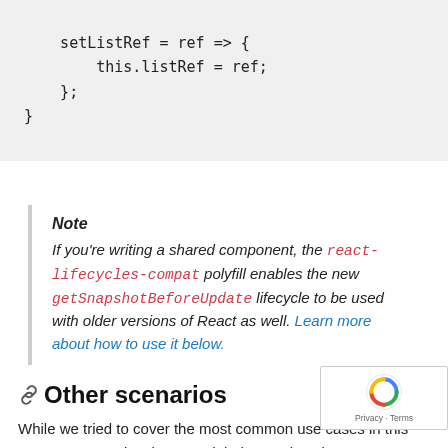setListRef = ref => {
    this.listRef = ref;
};
}
Note
If you’re writing a shared component, the react-lifecycles-compat polyfill enables the new getSnapshotBeforeUpdate lifecycle to be used with older versions of React as well. Learn more about how to use it below.
Other scenarios
While we tried to cover the most common use cases in this post, we recognize that we might have missed some…